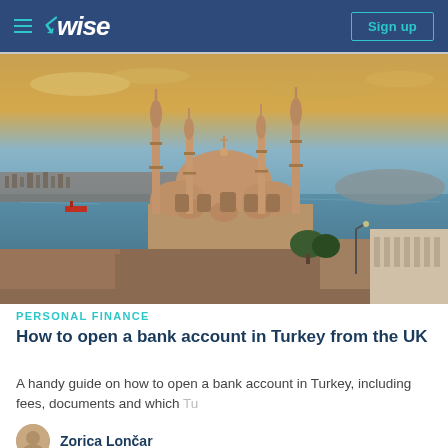Wise — Sign up
[Figure (photo): Aerial/elevated photograph of the Blue Mosque (Sultan Ahmed Mosque) in Istanbul, Turkey at sunset/golden hour, with the Bosphorus strait and city skyline in the background.]
PERSONAL FINANCE
How to open a bank account in Turkey from the UK
A handy guide on how to open a bank account in Turkey, including fees, documents and which Tu
Zorica Lončar